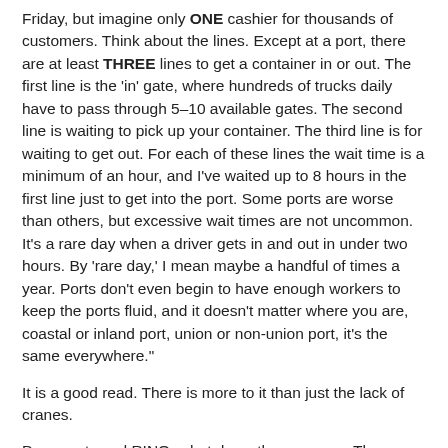Friday, but imagine only ONE cashier for thousands of customers. Think about the lines. Except at a port, there are at least THREE lines to get a container in or out. The first line is the 'in' gate, where hundreds of trucks daily have to pass through 5–10 available gates. The second line is waiting to pick up your container. The third line is for waiting to get out. For each of these lines the wait time is a minimum of an hour, and I've waited up to 8 hours in the first line just to get into the port. Some ports are worse than others, but excessive wait times are not uncommon. It's a rare day when a driver gets in and out in under two hours. By 'rare day,' I mean maybe a handful of times a year. Ports don't even begin to have enough workers to keep the ports fluid, and it doesn't matter where you are, coastal or inland port, union or non-union port, it's the same everywhere."
It is a good read. There is more to it than just the lack of cranes.
Democrats and RINOs shut down the economy. They thought it was a light switch. It was more like the time Walter Peck shut down the ghost storage vault in "Ghostbusters."